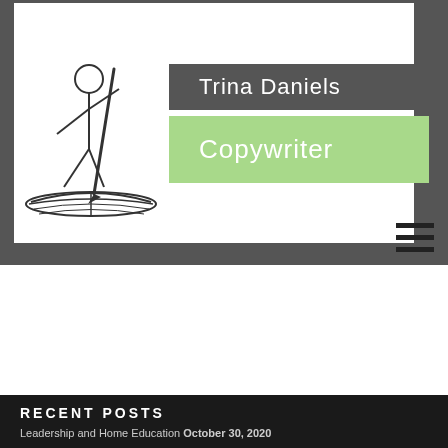[Figure (logo): Trina Daniels Copywriter logo with stick figure writing in a book, dark gray name badge and green copywriter badge]
RECENT POSTS
Leadership and Home Education October 30, 2020